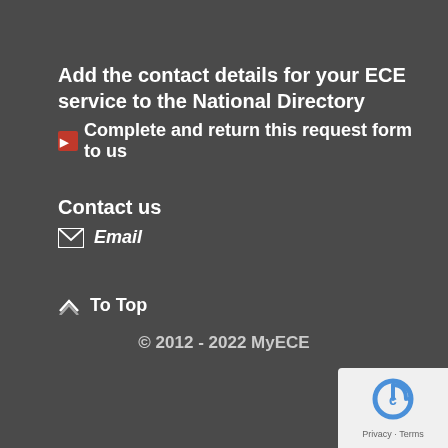Add the contact details for your ECE service to the National Directory
Complete and return this request form to us
Contact us
Email
To Top
© 2012 - 2022 MyECE
[Figure (logo): reCAPTCHA logo with Privacy and Terms links]